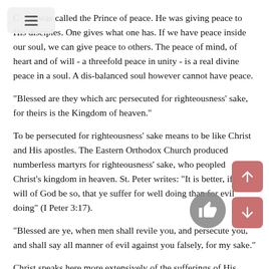Christ was called the Prince of peace. He was giving peace to His disciples. One gives what one has. If we have peace inside our soul, we can give peace to others. The peace of mind, of heart and of will - a threefold peace in unity - is a real divine peace in a soul. A dis-balanced soul however cannot have peace.
"Blessed are they which arc persecuted for righteousness' sake, for theirs is the Kingdom of heaven."
To be persecuted for righteousness' sake means to be like Christ and His apostles. The Eastern Orthodox Church produced numberless martyrs for righteousness' sake, who peopled Christ's kingdom in heaven. St. Peter writes: "It is better, if the will of God be so, that ye suffer for well doing than for evil doing" (I Peter 3:17).
"Blessed are ye, when men shall revile you, and persecute you, and shall say all manner of evil against you falsely, for my sake."
Christ speaks here more extensively of the sufferings of His